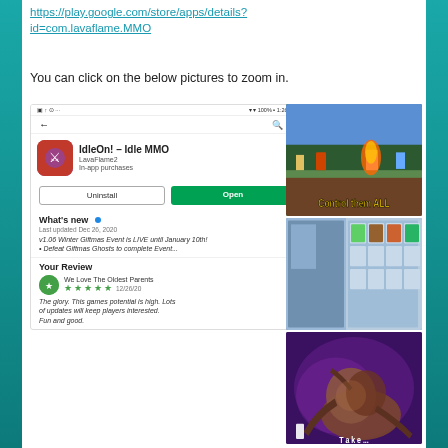https://play.google.com/store/apps/details?id=com.lavaflame.MMO
You can click on the below pictures to zoom in.
[Figure (screenshot): Google Play Store listing for IdleOn! - Idle MMO by LavaFlame2, showing Uninstall and Open buttons, What's new section dated Dec 26, 2020 with text about v1.06 Winter Giftmas Event, and a user review by 'We Love The Oldest Parents' with 5 stars dated 12/26/20 saying 'The glory. This games potential is high. Lots of updates will keep players interested. Fun and good.']
[Figure (screenshot): Game screenshot showing 2D pixel art action platformer scene with text 'Control them ALL']
[Figure (screenshot): Game screenshot showing inventory/item management UI with pixel art items in grid]
[Figure (screenshot): Game screenshot showing dark purple/space environment with large creature/boss]